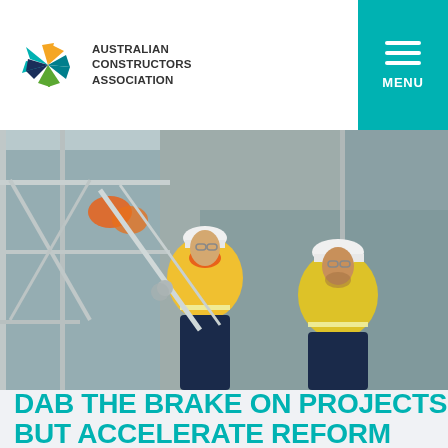[Figure (logo): Australian Constructors Association logo with coloured starburst/pinwheel mark and bold text]
[Figure (photo): Two construction workers in yellow high-visibility jackets and white hard hats smiling on scaffolding/metal stairway at an industrial site]
DAB THE BRAKE ON PROJECTS BUT ACCELERATE REFORM